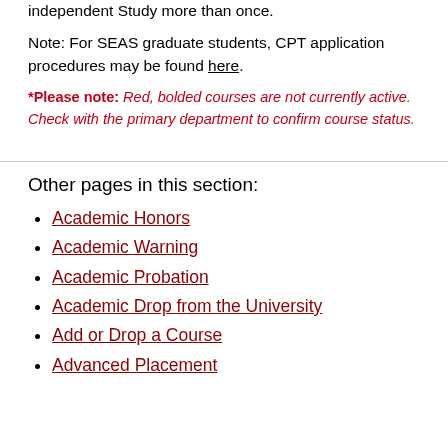Note: For SEAS graduate students, CPT application procedures may be found here.
*Please note: Red, bolded courses are not currently active. Check with the primary department to confirm course status.
Other pages in this section:
Academic Honors
Academic Warning
Academic Probation
Academic Drop from the University
Add or Drop a Course
Advanced Placement